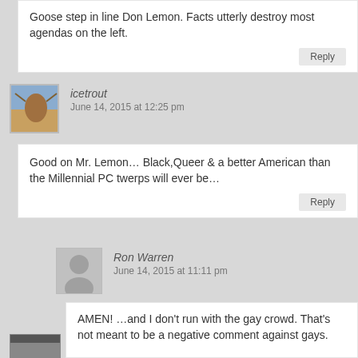Goose step in line Don Lemon. Facts utterly destroy most agendas on the left.
Reply
icetrout
June 14, 2015 at 12:25 pm
Good on Mr. Lemon… Black,Queer & a better American than the Millennial PC twerps will ever be…
Reply
Ron Warren
June 14, 2015 at 11:11 pm
AMEN! …and I don't run with the gay crowd. That's not meant to be a negative comment against gays.
Reply